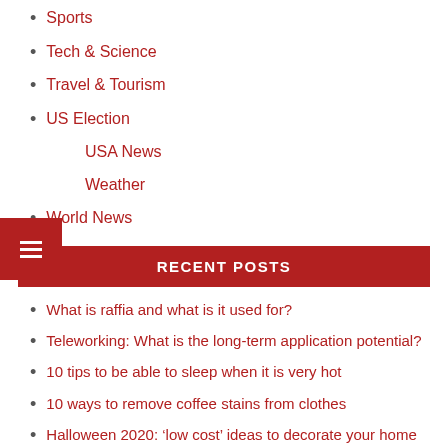Sports
Tech & Science
Travel & Tourism
US Election
USA News
Weather
World News
RECENT POSTS
What is raffia and what is it used for?
Teleworking: What is the long-term application potential?
10 tips to be able to sleep when it is very hot
10 ways to remove coffee stains from clothes
Halloween 2020: ‘low cost’ ideas to decorate your home